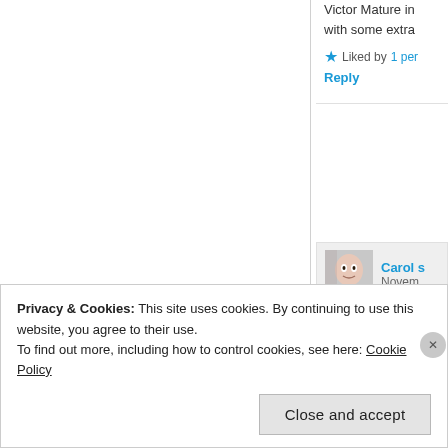Victor Mature in with some extra
Liked by 1 per
Reply
[Figure (photo): Avatar photo of Carol s]
Carol s
Novem
One of my all-ti
Liked by 1 pe
Reply
[Figure (photo): Avatar photo of kelle]
kelle
ove
Privacy & Cookies: This site uses cookies. By continuing to use this website, you agree to their use.
To find out more, including how to control cookies, see here: Cookie Policy
Close and accept